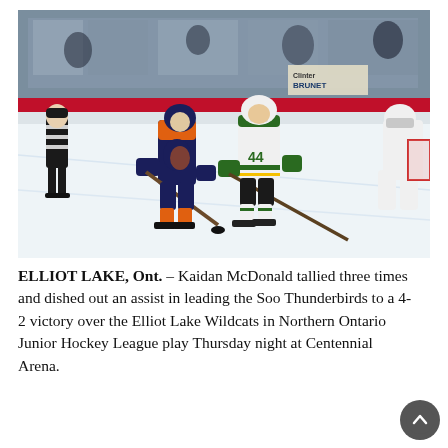[Figure (photo): Hockey game action photo showing players on ice. A player in orange/navy uniform battles for the puck against a player in white/green jersey (#44). A referee in black and white stripes is visible on the left, and a goalie in white can be seen in the background on the right. Arena boards with a red stripe and spectators are visible in the background. The rink appears to be Centennial Arena.]
ELLIOT LAKE, Ont. – Kaidan McDonald tallied three times and dished out an assist in leading the Soo Thunderbirds to a 4-2 victory over the Elliot Lake Wildcats in Northern Ontario Junior Hockey League play Thursday night at Centennial Arena.